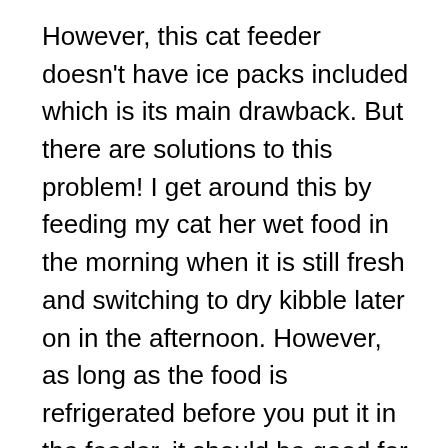However, this cat feeder doesn't have ice packs included which is its main drawback. But there are solutions to this problem! I get around this by feeding my cat her wet food in the morning when it is still fresh and switching to dry kibble later on in the afternoon. However, as long as the food is refrigerated before you put it in the feeder, it should be good for the rest of the day.
I also love that the Tdynasty Design feeder allows you to schedule meals and snacks based on your cat's eating habits or diet. This is controlled from an easy-to-use digital display which allows you to set feeding times within a minute of precision. The touch-enabled control panel of the feeder has a blue backlight LCD, so you can easily change the